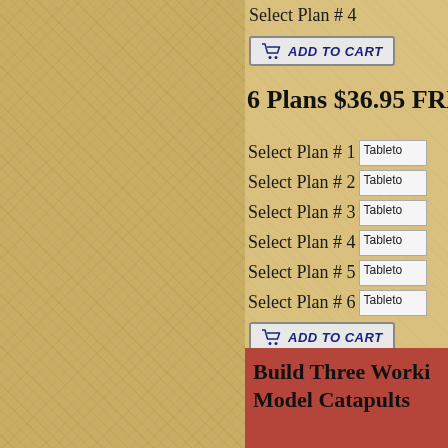Select Plan # 4
[Figure (screenshot): ADD TO CART button with shopping cart icon]
6 Plans $36.95 FREE
Select Plan # 1
Select Plan # 2
Select Plan # 3
Select Plan # 4
Select Plan # 5
Select Plan # 6
[Figure (screenshot): ADD TO CART button with shopping cart icon]
Get a Book of Catapult and T
Build Three Working Model Catapults